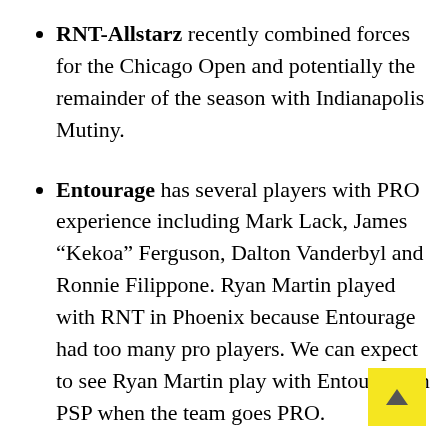RNT-Allstarz recently combined forces for the Chicago Open and potentially the remainder of the season with Indianapolis Mutiny.
Entourage has several players with PRO experience including Mark Lack, James “Kekoa” Ferguson, Dalton Vanderbyl and Ronnie Filippone. Ryan Martin played with RNT in Phoenix because Entourage had too many pro players. We can expect to see Ryan Martin play with Entourage in PSP when the team goes PRO.